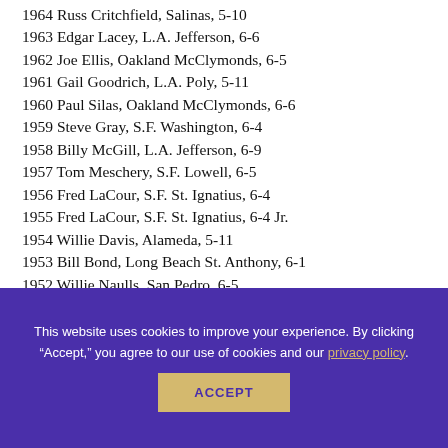1964 Russ Critchfield, Salinas, 5-10
1963 Edgar Lacey, L.A. Jefferson, 6-6
1962 Joe Ellis, Oakland McClymonds, 6-5
1961 Gail Goodrich, L.A. Poly, 5-11
1960 Paul Silas, Oakland McClymonds, 6-6
1959 Steve Gray, S.F. Washington, 6-4
1958 Billy McGill, L.A. Jefferson, 6-9
1957 Tom Meschery, S.F. Lowell, 6-5
1956 Fred LaCour, S.F. St. Ignatius, 6-4
1955 Fred LaCour, S.F. St. Ignatius, 6-4 Jr.
1954 Willie Davis, Alameda, 5-11
1953 Bill Bond, Long Beach St. Anthony, 6-1
1952 Willie Naulls, San Pedro, 6-5
1951 Ken Sears, Watsonville, 6-7
This website uses cookies to improve your experience. By clicking "Accept," you agree to our use of cookies and our privacy policy.
ACCEPT